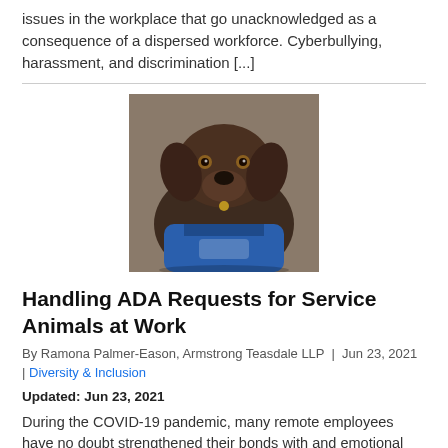issues in the workplace that go unacknowledged as a consequence of a dispersed workforce. Cyberbullying, harassment, and discrimination [...]
[Figure (photo): A chocolate Labrador wearing a blue service animal vest, looking at the camera.]
Handling ADA Requests for Service Animals at Work
By Ramona Palmer-Eason, Armstrong Teasdale LLP  |  Jun 23, 2021  |  Diversity & Inclusion
Updated: Jun 23, 2021
During the COVID-19 pandemic, many remote employees have no doubt strengthened their bonds with and emotional dependency on their pets and, in some cases, service animals. As